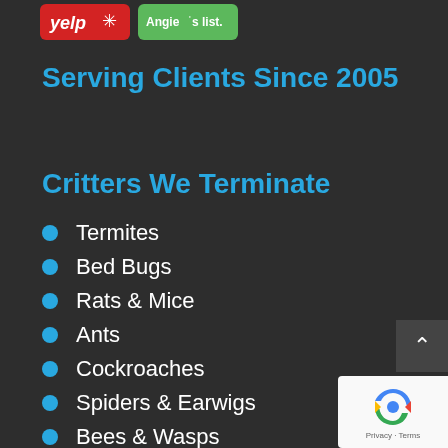[Figure (logo): Yelp logo (red background with white italic text and snowflake icon) and Angie's List logo (green background with white text)]
Serving Clients Since 2005
Critters We Terminate
Termites
Bed Bugs
Rats & Mice
Ants
Cockroaches
Spiders & Earwigs
Bees & Wasps